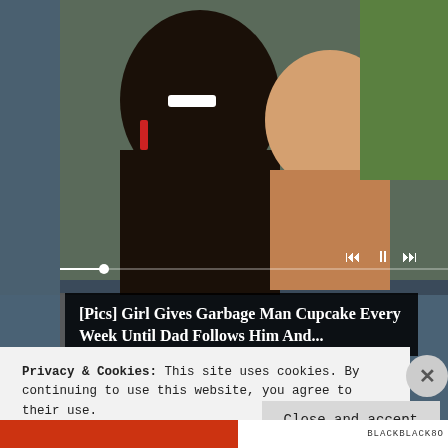[Figure (photo): Screenshot of a webpage showing a photo of a man with beard and a young child, with media player controls and a progress bar overlay]
[Pics] Girl Gives Garbage Man Cupcake Every Week Until Dad Follows Him And...
December 15, 2015
abs, attempt, attract, attraction, attractive, better, Bipolar, birth control, birth control pill, birth
Privacy & Cookies: This site uses cookies. By continuing to use this website, you agree to their use.
To find out more, including how to control cookies, see here:
Cookie Policy
Close and accept